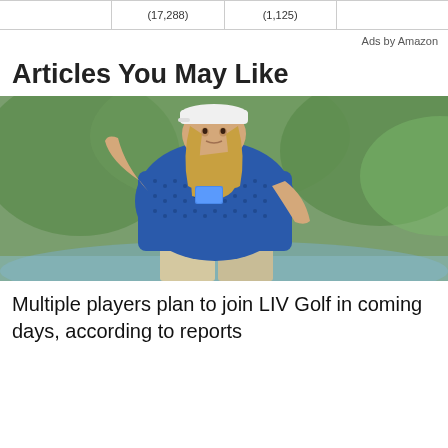|  | (17,288) | (1,125) |  |
Ads by Amazon
Articles You May Like
[Figure (photo): A golfer wearing a blue patterned polo shirt and white cap, raising his left hand, with a green outdoor background.]
Multiple players plan to join LIV Golf in coming days, according to reports